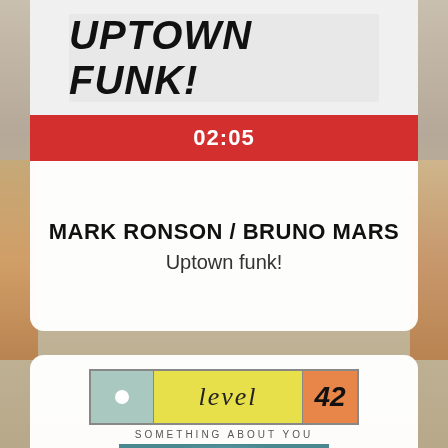[Figure (screenshot): Music player app screenshot showing album art for Uptown Funk at top]
02:05
MARK RONSON / BRUNO MARS
Uptown funk!
[Figure (screenshot): Level 42 - Something About You album art with logo and cloud image]